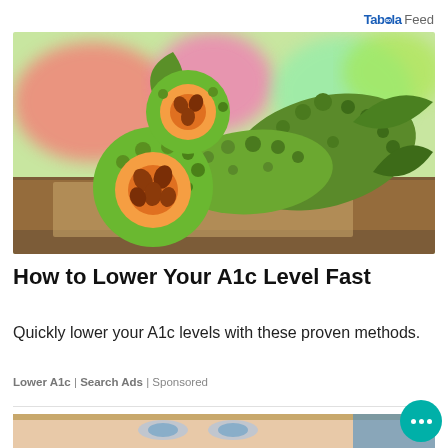Taboola Feed
[Figure (photo): Bitter melon (bitter gourd) fruits piled on a wooden surface with burlap, some cut open showing seeds, colorful blurred flowers in background]
How to Lower Your A1c Level Fast
Quickly lower your A1c levels with these proven methods.
Lower A1c | Search Ads | Sponsored
[Figure (photo): Close-up of a woman's face with blue eyes, partially visible, with a teal chat bubble icon in the bottom right corner]